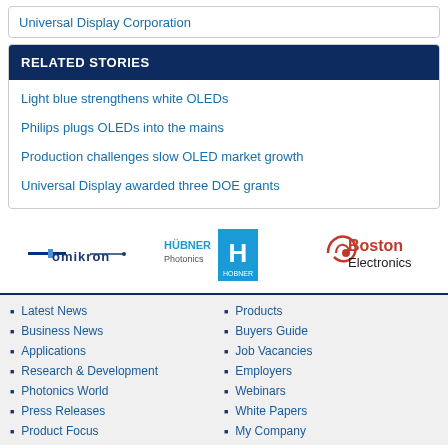Universal Display Corporation
RELATED STORIES
Light blue strengthens white OLEDs
Philips plugs OLEDs into the mains
Production challenges slow OLED market growth
Universal Display awarded three DOE grants
[Figure (logo): Omikron logo - stylized text with horizontal lines]
[Figure (logo): Hübner Photonics logo with H letter mark]
[Figure (logo): Boston Electronics logo in red and dark text]
Latest News
Business News
Applications
Research & Development
Photonics World
Press Releases
Product Focus
Products
Buyers Guide
Job Vacancies
Employers
Webinars
White Papers
My Company